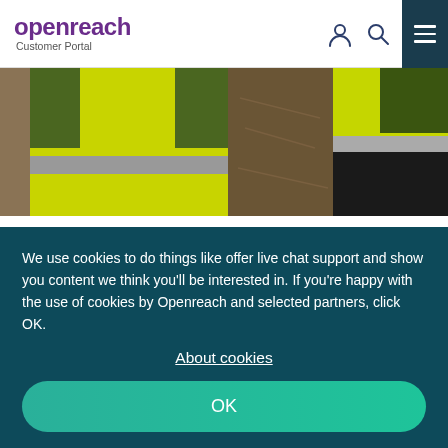openreach Customer Portal
[Figure (photo): Workers in yellow/green hi-visibility jackets photographed from behind/side, outdoors on a construction site]
EIP comms
Product release documentation (EIP Comms)
A clear process to keep you up to date on new and
We use cookies to do things like offer live chat support and show you content we think you'll be interested in. If you're happy with the use of cookies by Openreach and selected partners, click OK.
About cookies
OK